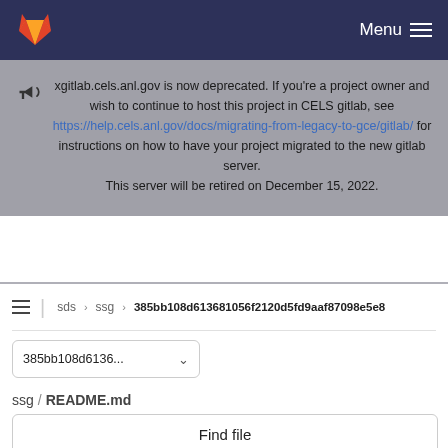Menu
xgitlab.cels.anl.gov is now deprecated. If you're a project owner and wish to continue to host this project in CELS gitlab, see https://help.cels.anl.gov/docs/migrating-from-legacy-to-gce/gitlab/ for instructions on how to have your project migrated to the new gitlab server. This server will be retired on December 15, 2022.
sds > ssg > 385bb108d613681056f2120d5fd9aaf87098e5e8
385bb108d6136...
ssg / README.md
Find file
Normal view
History